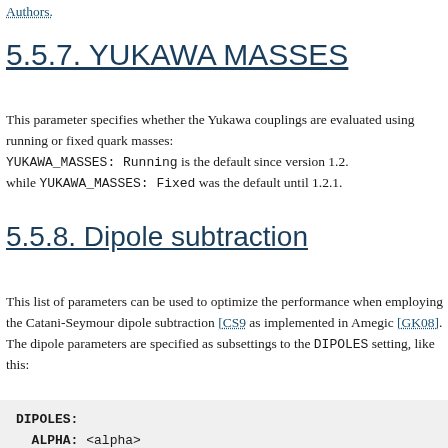Authors.
5.5.7. YUKAWA MASSES
This parameter specifies whether the Yukawa couplings are evaluated using running or fixed quark masses: YUKAWA_MASSES: Running is the default since version 1.2. while YUKAWA_MASSES: Fixed was the default until 1.2.1.
5.5.8. Dipole subtraction
This list of parameters can be used to optimize the performance when employing the Catani-Seymour dipole subtraction [CS9 as implemented in Amegic [GK08]. The dipole parameters are specified as subsettings to the DIPOLES setting, like this:
DIPOLES:
  ALPHA: <alpha>